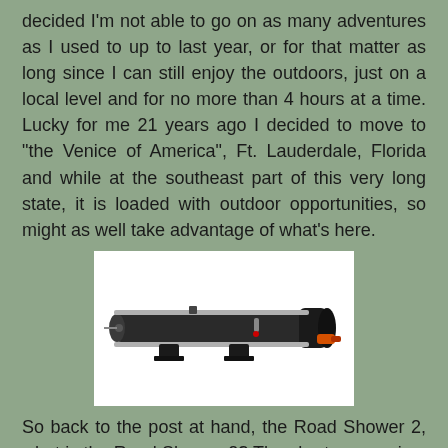decided I'm not able to go on as many adventures as I used to up to last year, or for that matter as long since I can still enjoy the outdoors, just on a local level and for no more than 4 hours at a time. Lucky for me 21 years ago I decided to move to "the Venice of America", Ft. Lauderdale, Florida and while at the southeast part of this very long state, it is loaded with outdoor opportunities, so might as well take advantage of what's here.
[Figure (photo): A Road Shower 2 pressurized/solar hot water shower system — a long black cylindrical tube with mounting brackets, a thermometer, and orange fittings at one end.]
So back to the post at hand, the Road Shower 2, what is the Road Shower 2? The short answer is a pressurized/solar hot water shower system for your vehicle or trailer. As you can see it has a black powder coating, and for safety reasons has a thermometer on the side so you can see how hot the water inside is. Also on top it has a tire air plug so that a tire